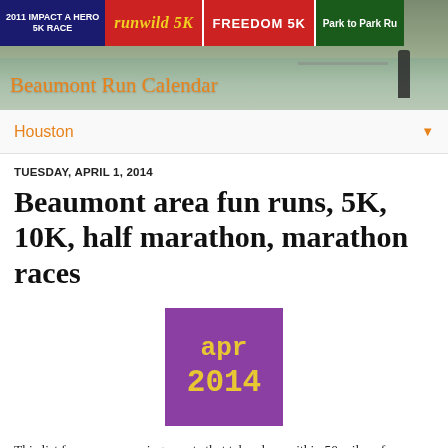[Figure (photo): Header photo showing race banners (2011 Impact a Hero 5K Race, Run Wild 5K, Freedom 5K, Park to Park Run) over a water/flooded road scene, with the text 'Beaumont Run Calendar' in orange overlaid on the image.]
Houston ▼
TUESDAY, APRIL 1, 2014
Beaumont area fun runs, 5K, 10K, half marathon, marathon races
[Figure (infographic): Purple square box with yellow monospace text reading 'apr' and '2014']
This list focuses on running events that take place within 50 miles of Beaumont, Texas -- including Port Arthur, Orange, and Liberty. Do you know of an event that should be listed here? Send email to list@houstonrunningcalendar.com.